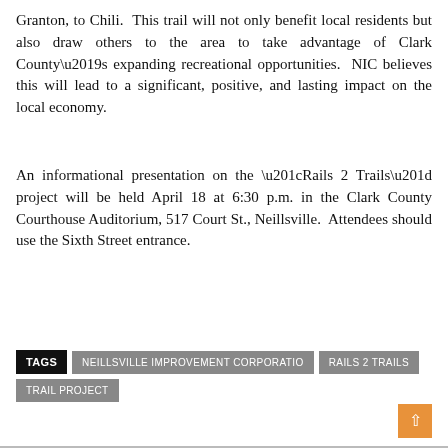Granton, to Chili.  This trail will not only benefit local residents but also draw others to the area to take advantage of Clark County's expanding recreational opportunities.  NIC believes this will lead to a significant, positive, and lasting impact on the local economy.
An informational presentation on the “Rails 2 Trails” project will be held April 18 at 6:30 p.m. in the Clark County Courthouse Auditorium, 517 Court St., Neillsville.  Attendees should use the Sixth Street entrance.
TAGS  NEILLSVILLE IMPROVEMENT CORPORATIO  RAILS 2 TRAILS  TRAIL PROJECT